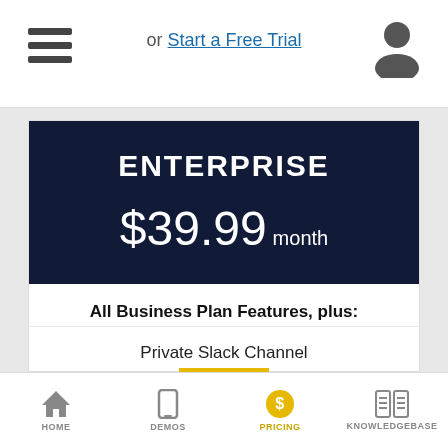or Start a Free Trial
ENTERPRISE
$39.99 month
All Business Plan Features, plus:
Private Slack Channel
Personal Success Manager
Custom Development Special Rate
HOME   DEMOS   PRICING   KNOWLEDGEBASE